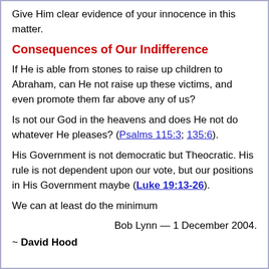Give Him clear evidence of your innocence in this matter.
Consequences of Our Indifference
If He is able from stones to raise up children to Abraham, can He not raise up these victims, and even promote them far above any of us?
Is not our God in the heavens and does He not do whatever He pleases? (Psalms 115:3; 135:6).
His Government is not democratic but Theocratic. His rule is not dependent upon our vote, but our positions in His Government maybe (Luke 19:13-26).
We can at least do the minimum
Bob Lynn — 1 December 2004.
~ David Hood